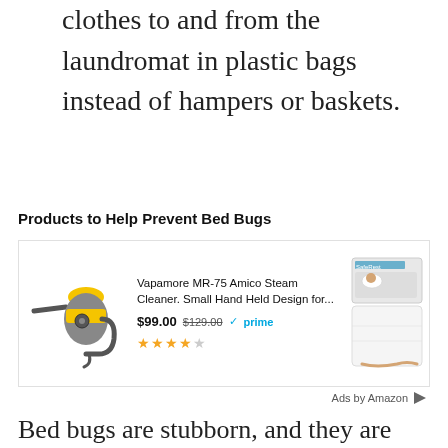clothes to and from the laundromat in plastic bags instead of hampers or baskets.
Products to Help Prevent Bed Bugs
[Figure (other): Amazon advertisement widget showing two products: Vapamore MR-75 Amico Steam Cleaner ($99.00, was $129.00, Prime, 4 stars) with a steam cleaner image on the left and a mattress protector image on the right. 'Ads by Amazon' label at bottom right.]
Bed bugs are stubborn, and they are great hitchhikers, so it doesn't take much to make